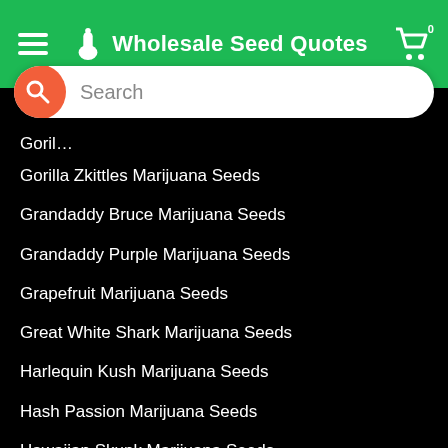Wholesale Seed Quotes
[Figure (screenshot): Search bar with orange search icon circle and placeholder text 'Search']
Gorilla Zkittles Marijuana Seeds
Grandaddy Bruce Marijuana Seeds
Grandaddy Purple Marijuana Seeds
Grapefruit Marijuana Seeds
Great White Shark Marijuana Seeds
Harlequin Kush Marijuana Seeds
Hash Passion Marijuana Seeds
Hawaiian Skunk Marijuana Seeds
Hindu Kush Marijuana Seeds
Jack Herer Marijuana Seeds
Jelly Bean Marijuana Seeds
Kosher Tangie Marijuana Seeds
Lemon Pie Marijuana Seeds
Master Kush Marijuana Seeds